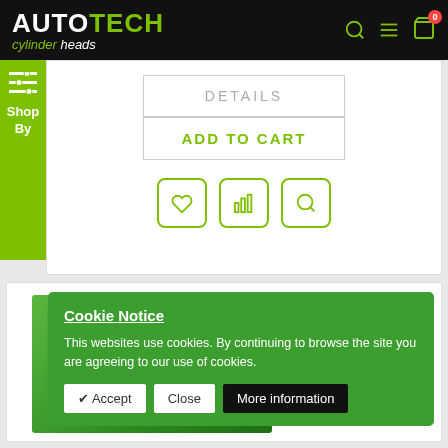[Figure (screenshot): AutoTech Cylinder Heads e-commerce website header with logo, navigation icons, and shopping cart]
[Figure (screenshot): Product card showing DETAILS and ADD TO CART buttons with wishlist, compare, and search icons]
[Figure (screenshot): Second product card with green product image background]
Cookie Notice
This websites use cookies. By continuing to browse the site you are agreeing to our use of cookies.
✔ Accept  Close  More information